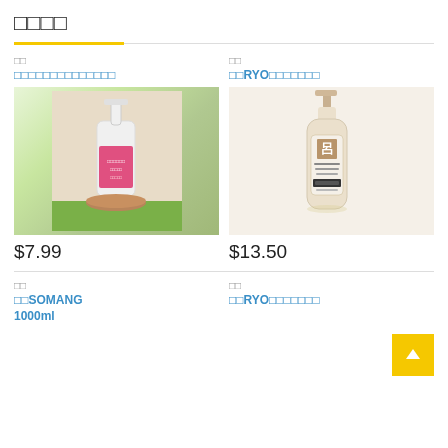□□□□
[Figure (photo): Pink pump bottle shampoo/conditioner product on wooden stand, placed on green grass background]
$7.99
[Figure (photo): RYO brand cream/beige pump bottle (anti-aging shampoo) on white background]
$13.50
□□ □□□□□□□□□□□□
□□ □□RYO□□□□□□□
□□ □□SOMANG 1000ml
□□ □□RYO□□□□□□□